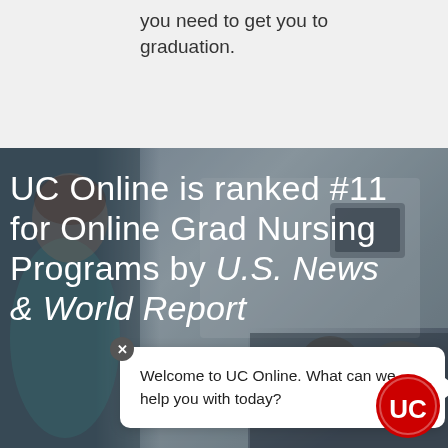you need to get you to graduation.
[Figure (photo): Photo of a nurse/medical professional in scrubs in the foreground on the left, with a medical/lab setting in the background, and students studying in the bottom right.]
UC Online is ranked #11 for Online Grad Nursing Programs by U.S. News & World Report
Welcome to UC Online. What can we help you with today?
[Figure (logo): UC (University of Cincinnati) circular red logo with white UC torch symbol]